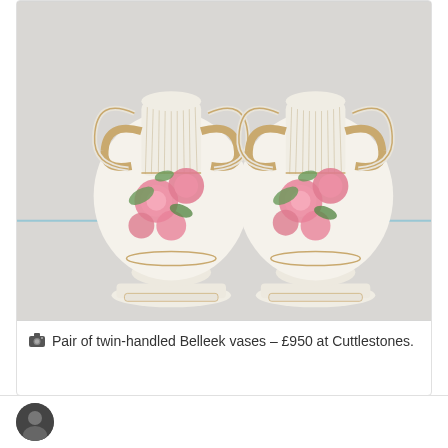[Figure (photo): A pair of twin-handled Belleek porcelain vases with cream/ivory bodies, ornate gold-accented handles, and hand-painted pink rose floral decoration on the bulbous bodies, displayed side by side on a light background.]
Pair of twin-handled Belleek vases – £950 at Cuttlestones.